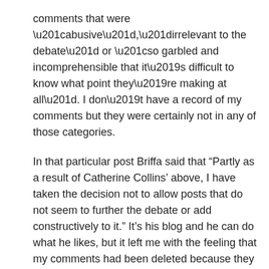comments that were “abusive”,”irrelevant to the debate” or “so garbled and incomprehensible that it’s difficult to know what point they’re making at all”. I don’t have a record of my comments but they were certainly not in any of those categories.
In that particular post Briffa said that “Partly as a result of Catherine Collins’ above, I have taken the decision not to allow posts that do not seem to further the debate or add constructively to it.” It’s his blog and he can do what he likes, but it left me with the feeling that my comments had been deleted because they were in opposition to his views. Perhaps if he has a record of the whole thread he could publish it to let others